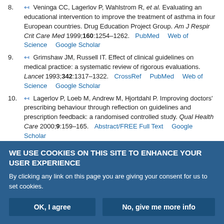8. Veninga CC, Lagerlov P, Wahlstrom R, et al. Evaluating an educational intervention to improve the treatment of asthma in four European countries. Drug Education Project Group. Am J Respir Crit Care Med 1999;160:1254–1262. PubMed  Web of Science  Google Scholar
9. Grimshaw JM, Russell IT. Effect of clinical guidelines on medical practice: a systematic review of rigorous evaluations. Lancet 1993;342:1317–1322. CrossRef  PubMed  Web of Science  Google Scholar
10. Lagerlov P, Loeb M, Andrew M, Hjortdahl P. Improving doctors' prescribing behaviour through reflection on guidelines and prescription feedback: a randomised controlled study. Qual Health Care 2000;9:159–165. Abstract/FREE Full Text  Google Scholar
11. Worrall G, Chaulk P, Freake D. The effects of clinical practice guidelines
WE USE COOKIES ON THIS SITE TO ENHANCE YOUR USER EXPERIENCE
By clicking any link on this page you are giving your consent for us to set cookies.